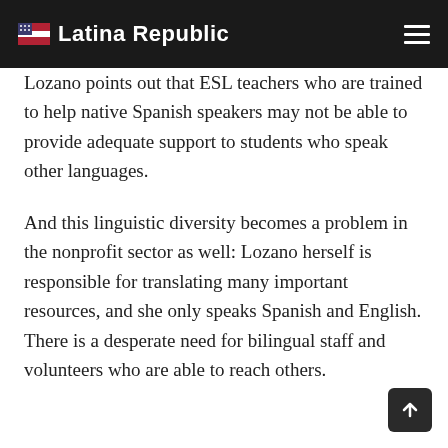Latina Republic
Lozano points out that ESL teachers who are trained to help native Spanish speakers may not be able to provide adequate support to students who speak other languages.
And this linguistic diversity becomes a problem in the nonprofit sector as well: Lozano herself is responsible for translating many important resources, and she only speaks Spanish and English. There is a desperate need for bilingual staff and volunteers who are able to reach others.